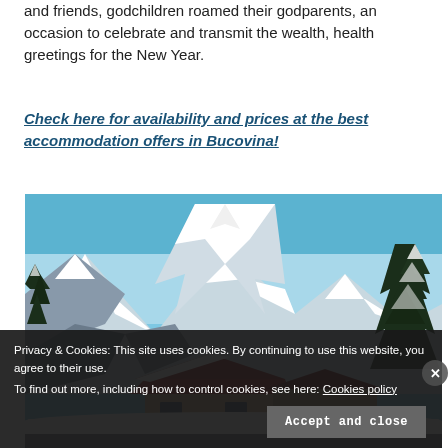and friends, godchildren roamed their godparents, an occasion to celebrate and transmit the wealth, health greetings for the New Year.
Check here for availability and prices at the best accommodation offers in Bucovina!
[Figure (photo): Winter mountain landscape with snow-covered peaks, pine trees dusted in snow, and a red-roofed chalet in the foreground.]
Privacy & Cookies: This site uses cookies. By continuing to use this website, you agree to their use.
To find out more, including how to control cookies, see here: Cookies policy
Accept and close